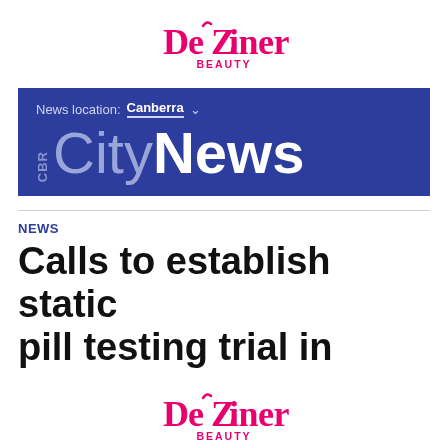[Figure (logo): Deziner Beauty logo in pink/magenta, top center]
[Figure (screenshot): CBR CityNews blue banner with 'News location: Canberra' dropdown and CBR CityNews logo in white/grey on dark blue background]
NEWS
Calls to establish static pill testing trial in
[Figure (logo): Deziner Beauty logo in pink/magenta, bottom center]